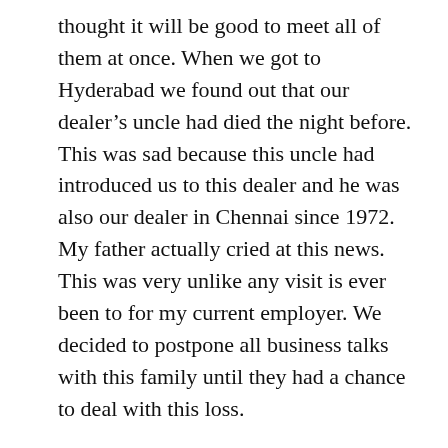thought it will be good to meet all of them at once. When we got to Hyderabad we found out that our dealer's uncle had died the night before. This was sad because this uncle had introduced us to this dealer and he was also our dealer in Chennai since 1972. My father actually cried at this news. This was very unlike any visit is ever been to for my current employer. We decided to postpone all business talks with this family until they had a chance to deal with this loss.
We met an enterprising young guy at another dealer's shop in Hyderabad. He worked for Selec in marketing for 10+ years. He gave us great input on our strategy for digital and